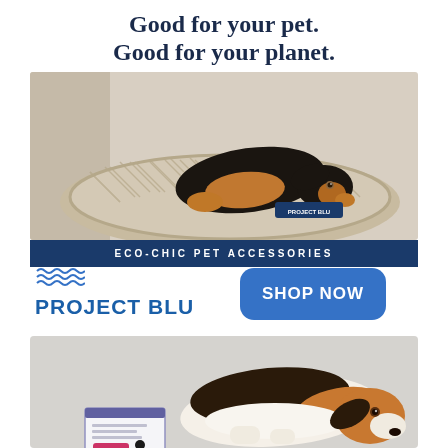Good for your pet.
Good for your planet.
[Figure (photo): A black and tan dog curled up sleeping on a patterned herringbone pet bed. Small 'Project Blu' label visible on the bed.]
ECO-CHIC PET ACCESSORIES
[Figure (logo): Project Blu logo with wave/water graphic above and bold blue 'PROJECT BLU' text]
SHOP NOW
[Figure (photo): A beagle puppy lying on a light gray carpet next to a small booklet/brochure about pet care.]